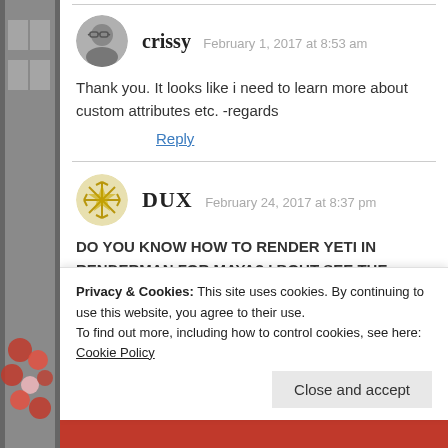[Figure (photo): Sidebar showing a partial view of a building with red/pink decorations, partial street scene photo]
crissy   February 1, 2017 at 8:53 am
[Figure (photo): Round avatar photo of a man with glasses]
Thank you. It looks like i need to learn more about custom attributes etc. -regards
Reply
[Figure (illustration): Gold snowflake/star avatar icon for user DUX]
DUX   February 24, 2017 at 8:37 pm
DO YOU KNOW HOW TO RENDER YETI IN RENDERMAN FOR MAYA? I BOUT SEE THE
Privacy & Cookies: This site uses cookies. By continuing to use this website, you agree to their use.
To find out more, including how to control cookies, see here: Cookie Policy
Close and accept